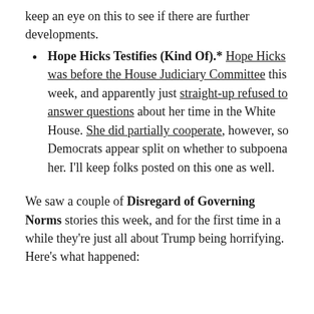keep an eye on this to see if there are further developments.
Hope Hicks Testifies (Kind Of).* Hope Hicks was before the House Judiciary Committee this week, and apparently just straight-up refused to answer questions about her time in the White House. She did partially cooperate, however, so Democrats appear split on whether to subpoena her. I'll keep folks posted on this one as well.
We saw a couple of Disregard of Governing Norms stories this week, and for the first time in a while they're just all about Trump being horrifying. Here's what happened: